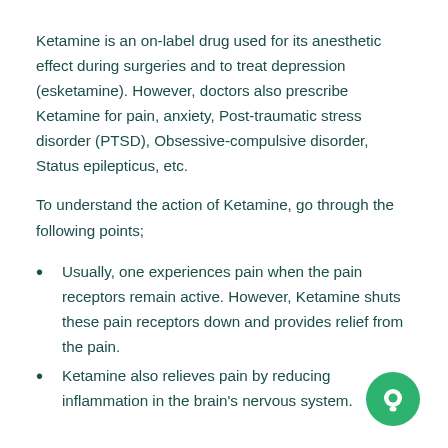Ketamine is an on-label drug used for its anesthetic effect during surgeries and to treat depression (esketamine). However, doctors also prescribe Ketamine for pain, anxiety, Post-traumatic stress disorder (PTSD), Obsessive-compulsive disorder, Status epilepticus, etc.
To understand the action of Ketamine, go through the following points;
Usually, one experiences pain when the pain receptors remain active. However, Ketamine shuts these pain receptors down and provides relief from the pain.
Ketamine also relieves pain by reducing inflammation in the brain's nervous system.
[Figure (other): Green circular chat/messenger button icon in the bottom right corner]